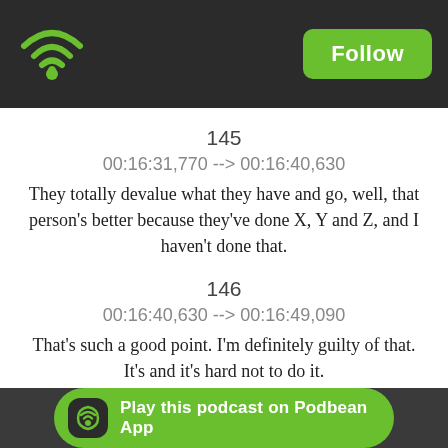Podbean App header with WiFi logo and Follow button
145
00:16:31,770 --> 00:16:40,630
They totally devalue what they have and go, well, that person's better because they've done X, Y and Z, and I haven't done that.
146
00:16:40,630 --> 00:16:49,090
That's such a good point. I'm definitely guilty of that. It's and it's hard not to do it.
147
00:16:49,090 --> 00:16:54,340
But, you know, there's all sorts of reasons why that person might be the person that gets a job over you
148
00:16:54,340 --> 00:16:57,620
The[y ...] because
Play this podcast on Podbean App